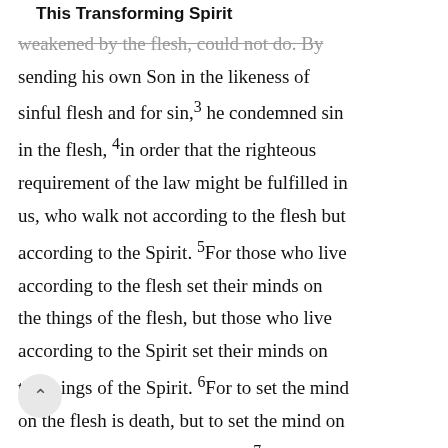This Transforming Spirit
Weakened by the flesh, could not do. By sending his own Son in the likeness of sinful flesh and for sin,3 he condemned sin in the flesh, 4in order that the righteous requirement of the law might be fulfilled in us, who walk not according to the flesh but according to the Spirit. 5For those who live according to the flesh set their minds on the things of the flesh, but those who live according to the Spirit set their minds on the things of the Spirit. 6For to set the mind on the flesh is death, but to set the mind on the Spirit is life and peace. 7For the mind that is set on the flesh is hostile to God, for